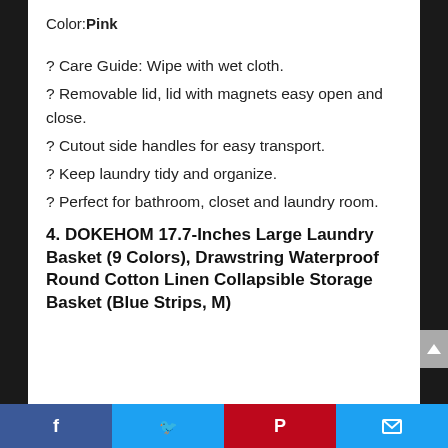Color: Pink
? Care Guide: Wipe with wet cloth.
? Removable lid, lid with magnets easy open and close.
? Cutout side handles for easy transport.
? Keep laundry tidy and organize.
? Perfect for bathroom, closet and laundry room.
4. DOKEHOM 17.7-Inches Large Laundry Basket (9 Colors), Drawstring Waterproof Round Cotton Linen Collapsible Storage Basket (Blue Strips, M)
Facebook | Twitter | Pinterest | Email